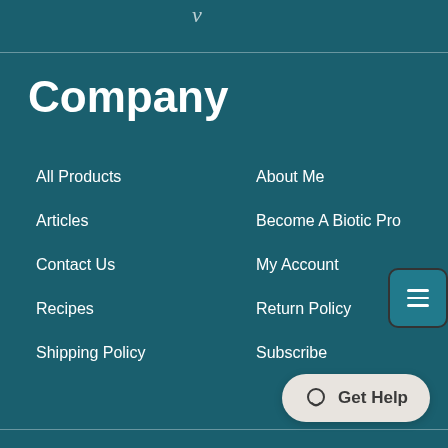Company
Company
All Products
About Me
Articles
Become A Biotic Pro
Contact Us
My Account
Recipes
Return Policy
Shipping Policy
Subscribe